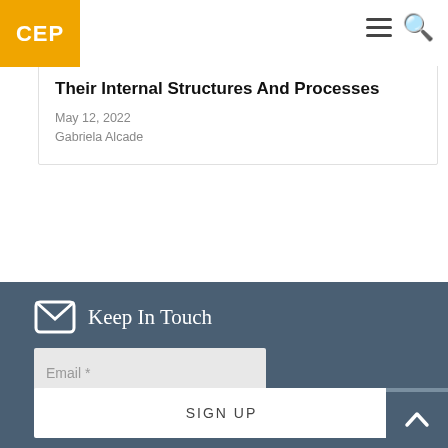CEP
Their Internal Structures And Processes
May 12, 2022
Gabriela Alcade
Keep In Touch
Email *
SIGN UP